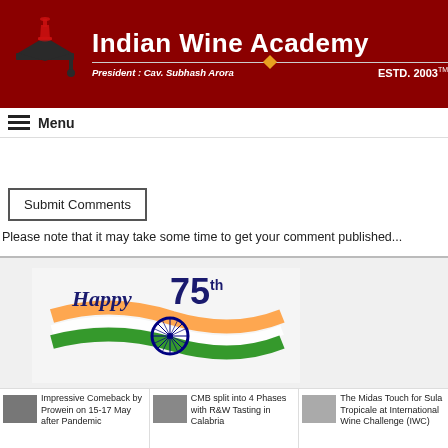[Figure (logo): Indian Wine Academy header with logo (graduation cap with wine glass), title text, president name and ESTD. 2003]
Menu
Submit Comments
Please note that it may take some time to get your comment published...
[Figure (illustration): Happy 75th Independence Day illustration with Indian flag tricolor waves and Ashok Chakra]
Impressive Comeback by Prowein on 15-17 May after Pandemic
CMB split into 4 Phases with R&W Tasting in Calabria
The Midas Touch for Sula Tropicale at International Wine Challenge (IWC)